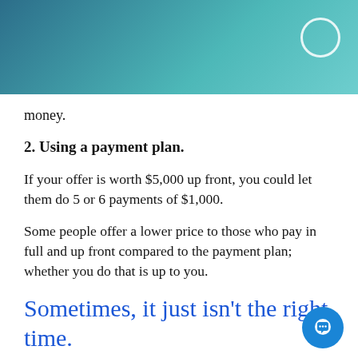money.
2. Using a payment plan.
If your offer is worth $5,000 up front, you could let them do 5 or 6 payments of $1,000.
Some people offer a lower price to those who pay in full and up front compared to the payment plan; whether you do that is up to you.
Sometimes, it just isn't the right time.